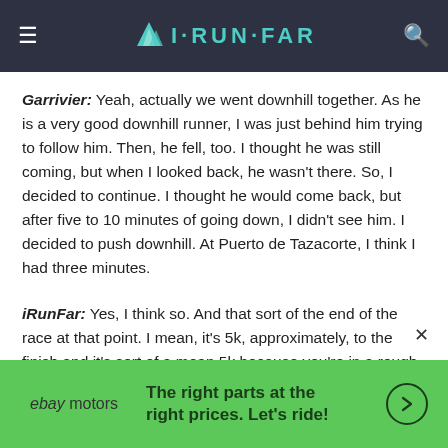iRunFar
Garrivier: Yeah, actually we went downhill together. As he is a very good downhill runner, I was just behind him trying to follow him. Then, he fell, too. I thought he was still coming, but when I looked back, he wasn't there. So, I decided to continue. I thought he would come back, but after five to 10 minutes of going down, I didn't see him. I decided to push downhill. At Puerto de Tazacorte, I think I had three minutes.
iRunFar: Yes, I think so. And that sort of the end of the race at that point. I mean, it's 5k, approximately, to the finish and it's sort of a mean 5k because you're in a rough riverbed and then a very steep climb.
[Figure (other): eBay Motors advertisement banner with green background. Text: The right parts at the right prices. Let's ride!]